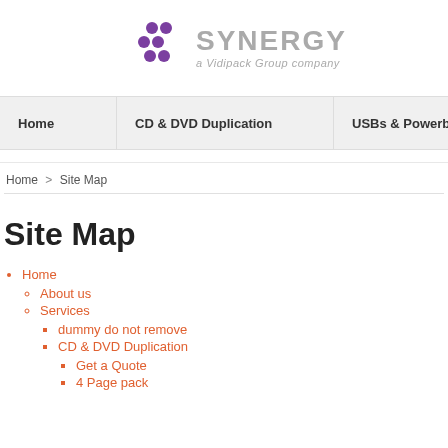[Figure (logo): Synergy logo — purple dot cluster icon with 'SYNERGY' in grey and 'a Vidipack Group company' in italic grey below]
Home | CD & DVD Duplication | USBs & Powerbanks
Home > Site Map
Site Map
Home
About us
Services
dummy do not remove
CD & DVD Duplication
Get a Quote
4 Page pack